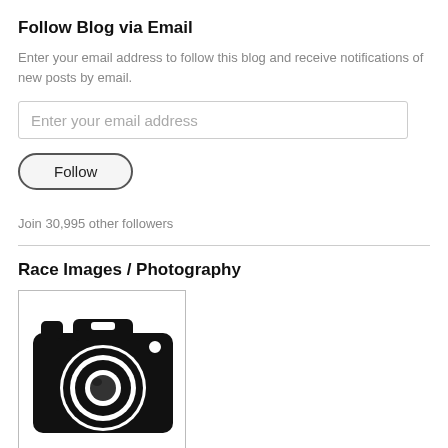Follow Blog via Email
Enter your email address to follow this blog and receive notifications of new posts by email.
[Figure (screenshot): Email address input field with placeholder text 'Enter your email address']
[Figure (screenshot): Follow button with rounded pill shape]
Join 30,995 other followers
Race Images / Photography
[Figure (illustration): Black and white camera icon illustration inside a bordered rectangle]